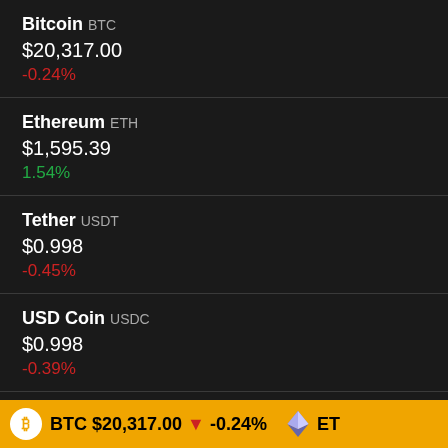Bitcoin BTC $20,317.00 -0.24%
Ethereum ETH $1,595.39 1.54%
Tether USDT $0.998 -0.45%
USD Coin USDC $0.998 -0.39%
BNB BNB $285.78 -1.11%
BTC $20,317.00 ▼ -0.24%  ETH